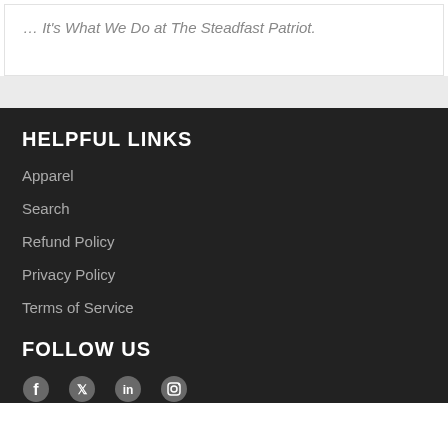… It's What We Do at The Steadfast Patriot.
HELPFUL LINKS
Apparel
Search
Refund Policy
Privacy Policy
Terms of Service
FOLLOW US
[Figure (illustration): Social media icons: Facebook, Twitter, another icon, Instagram]